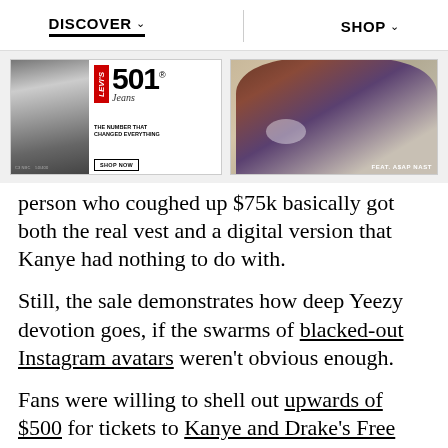DISCOVER   SHOP
[Figure (photo): Two advertisement banners side by side. Left: Levi's 501 Jeans ad with black and white photo of person and text 'THE NUMBER THAT CHANGED EVERYTHING' with 'SHOP NOW' button. Right: Levi's ad featuring ASAP Nast in red jacket and jeans lounging.]
person who coughed up $75k basically got both the real vest and a digital version that Kanye had nothing to do with.
Still, the sale demonstrates how deep Yeezy devotion goes, if the swarms of blacked-out Instagram avatars weren't obvious enough.
Fans were willing to shell out upwards of $500 for tickets to Kanye and Drake's Free Larry